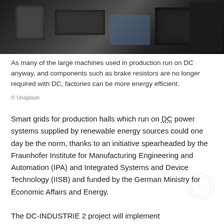[Figure (photo): Industrial machinery photograph showing large manufacturing equipment in dark tones]
As many of the large machines used in production run on DC anyway, and components such as brake resistors are no longer required with DC, factories can be more energy efficient.
© Unsplash
Smart grids for production halls which run on DC power systems supplied by renewable energy sources could one day be the norm, thanks to an initiative spearheaded by the Fraunhofer Institute for Manufacturing Engineering and Automation (IPA) and Integrated Systems and Device Technology (IISB) and funded by the German Ministry for Economic Affairs and Energy.
The DC-INDUSTRIE 2 project will implement